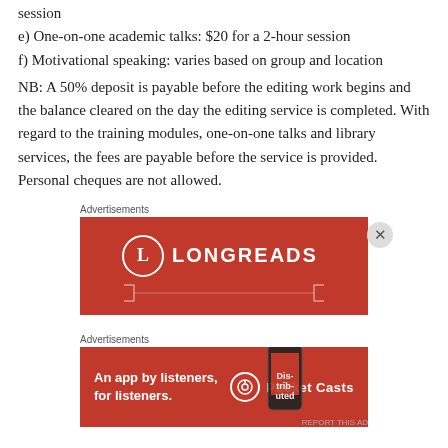session
e) One-on-one academic talks: $20 for a 2-hour session
f) Motivational speaking: varies based on group and location
NB: A 50% deposit is payable before the editing work begins and the balance cleared on the day the editing service is completed. With regard to the training modules, one-on-one talks and library services, the fees are payable before the service is provided. Personal cheques are not allowed.
[Figure (illustration): Longreads advertisement banner with red background and Longreads logo]
[Figure (illustration): Pocket Casts advertisement banner with red background, text 'An app by listeners, for listeners.' and Pocket Casts logo]